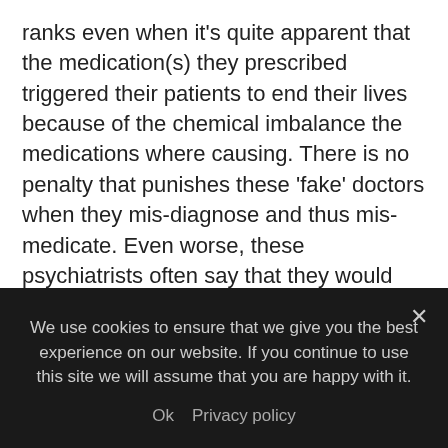ranks even when it's quite apparent that the medication(s) they prescribed triggered their patients to end their lives because of the chemical imbalance the medications where causing. There is no penalty that punishes these 'fake' doctors when they mis-diagnose and thus mis-medicate. Even worse, these psychiatrists often say that they would make the same decisions again.
I'm however commenting to reach out to the 'real' doctors and offer you/them a little solace by explaining that 'errors-mistakes-failures' are part of your profession and you never had a chance of
We use cookies to ensure that we give you the best experience on our website. If you continue to use this site we will assume that you are happy with it.
Ok   Privacy policy